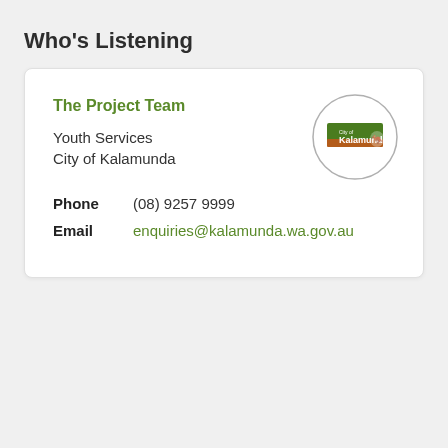Who's Listening
The Project Team
Youth Services
City of Kalamunda
Phone   (08) 9257 9999
Email   enquiries@kalamunda.wa.gov.au
[Figure (logo): City of Kalamunda circular logo with green and brown landscape graphic and white text]